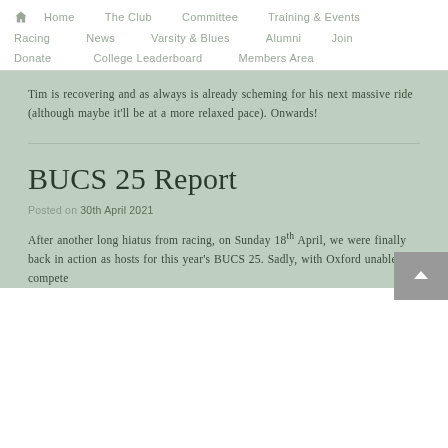Home | The Club | Committee | Training & Events | Racing | News | Varsity & Blues | Alumni | Join | Donate | College Leaderboard | Members Area
Tim is recovering and as always is already scheming for his next massive ride (although maybe it'll be at a more relaxed pace). Onwards!
BUCS 25 Report
Posted on 30th April 2021
After another long hiatus from racing, on Sunday 18th April, we were finally back in action as hosts for this year's BUCS 25. Sadly, with Oxford unable to compete...